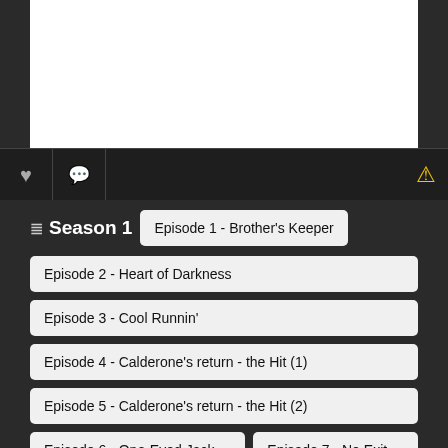[Figure (screenshot): White content area at top (video/image placeholder)]
Season 1
Episode 1 - Brother's Keeper
Episode 2 - Heart of Darkness
Episode 3 - Cool Runnin'
Episode 4 - Calderone's return - the Hit (1)
Episode 5 - Calderone's return - the Hit (2)
Episode 6 - One-Eyed Jack
Episode 7 - No Exit
Episode 8 - The Great McCarthy
Episode 9 - Glades
Episode 10 - Give a Little, Take a Little
Episode 11 - Little Prince
Episode 12 - Milk Run